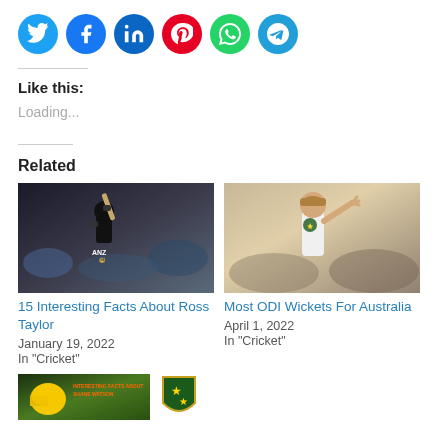[Figure (other): Social media share icons: Twitter (blue), Facebook (blue), LinkedIn (dark blue), Pinterest (red), WhatsApp (green), Telegram (blue)]
Like this:
Loading...
Related
[Figure (photo): Cricket player in black ANZ uniform raising bat after scoring, crowd in background]
15 Interesting Facts About Ross Taylor
January 19, 2022
In "Cricket"
[Figure (photo): Cricket player in white Australia uniform waving hand, crowd in background]
Most ODI Wickets For Australia
April 1, 2022
In "Cricket"
[Figure (photo): Partial image at bottom showing cricket related content with Australian cricket logo]